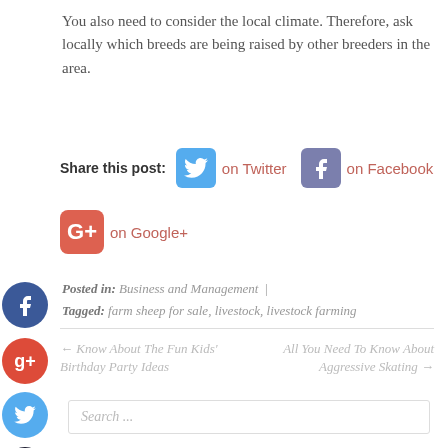You also need to consider the local climate. Therefore, ask locally which breeds are being raised by other breeders in the area.
Share this post: on Twitter | on Facebook | on Google+
Posted in: Business and Management | Tagged: farm sheep for sale, livestock, livestock farming
← Know About The Fun Kids' Birthday Party Ideas
All You Need To Know About Aggressive Skating →
Search ...